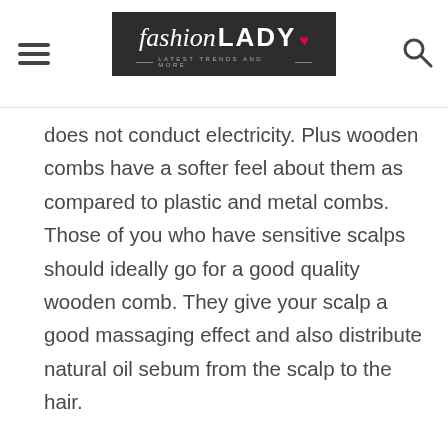fashion LADY - Latest Trends and More
does not conduct electricity. Plus wooden combs have a softer feel about them as compared to plastic and metal combs. Those of you who have sensitive scalps should ideally go for a good quality wooden comb. They give your scalp a good massaging effect and also distribute natural oil sebum from the scalp to the hair.